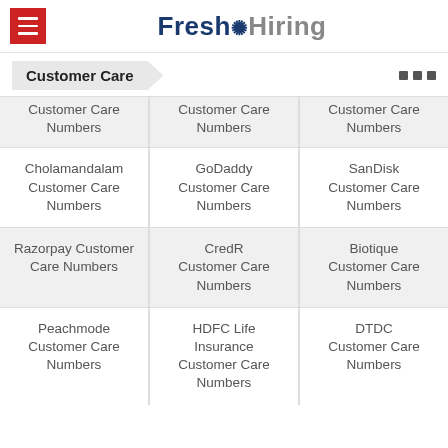Fresh Hiring
Customer Care
Customer Care Numbers | Customer Care Numbers | Customer Care Numbers
Cholamandalam Customer Care Numbers | GoDaddy Customer Care Numbers | SanDisk Customer Care Numbers
Razorpay Customer Care Numbers | CredR Customer Care Numbers | Biotique Customer Care Numbers
Peachmode Customer Care Numbers | HDFC Life Insurance Customer Care Numbers | DTDC Customer Care Numbers